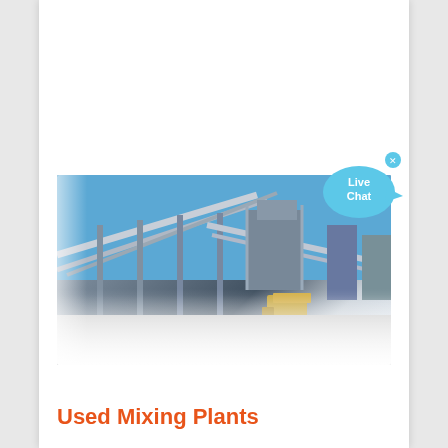[Figure (other): Orange 'Get Quote' button on white background]
[Figure (photo): Industrial mixing plant facility with large conveyor belts, metal structures, and machinery against a blue sky. Heavy equipment visible at ground level.]
Used Mixing Plants